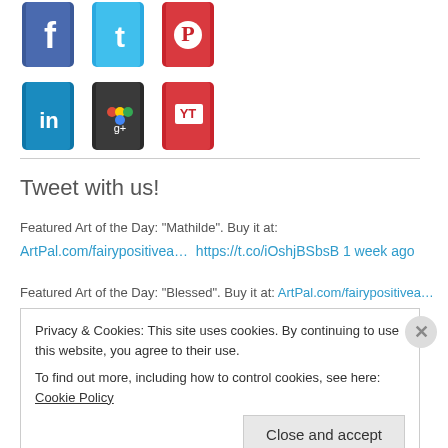[Figure (illustration): Social media book icons: top row Facebook (blue), Twitter (teal), Pinterest (red); bottom row LinkedIn (blue), Google+ (black), YouTube (red)]
Tweet with us!
Featured Art of the Day: "Mathilde". Buy it at:
ArtPal.com/fairypositivea… https://t.co/iOshjBSbsB 1 week ago
Featured Art of the Day: "Blessed". Buy it at: ArtPal.com/fairypositivea…
Privacy & Cookies: This site uses cookies. By continuing to use this website, you agree to their use.
To find out more, including how to control cookies, see here: Cookie Policy